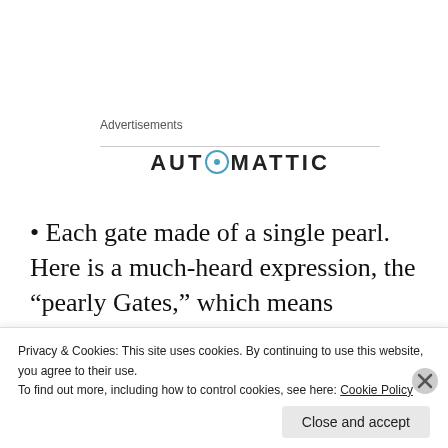Advertisements
[Figure (logo): Automattic logo with stylized 'O' containing a blue circle with dot]
Each gate made of a single pearl. Here is a much-heard expression, the “pearly Gates,” which means “absolutely pure.”
The city of pure gold... as glass. The Jewish
Privacy & Cookies: This site uses cookies. By continuing to use this website, you agree to their use.
To find out more, including how to control cookies, see here: Cookie Policy
Close and accept